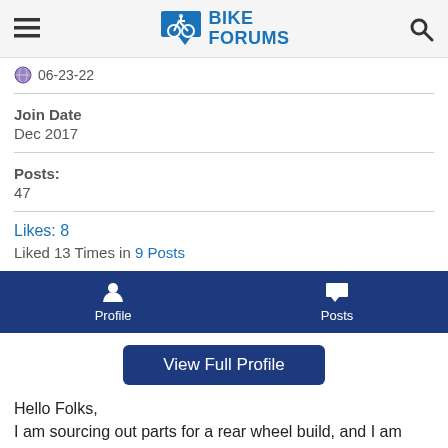BIKE FORUMS
06-23-22
Join Date
Dec 2017
Posts:
47
Likes: 8
Liked 13 Times in 9 Posts
Profile   Posts
View Full Profile
Hello Folks,
I am sourcing out parts for a rear wheel build, and I am